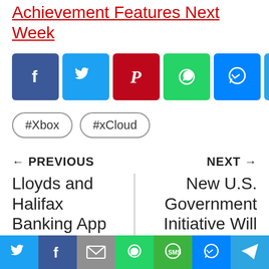Achievement Features Next Week
[Figure (infographic): Row of social share buttons: Facebook (blue), Twitter (blue), Pinterest (red), WhatsApp (green), Messenger (blue), Telegram (blue), LinkedIn (blue), Email (gray)]
#Xbox
#xCloud
← PREVIOUS
NEXT →
Lloyds and Halifax Banking App back Online after a Glitch left users with no
New U.S. Government Initiative Will Hold Contractors
[Figure (infographic): Bottom share bar with icons: Twitter, Facebook, Email, WhatsApp, SMS, Messenger, Telegram]